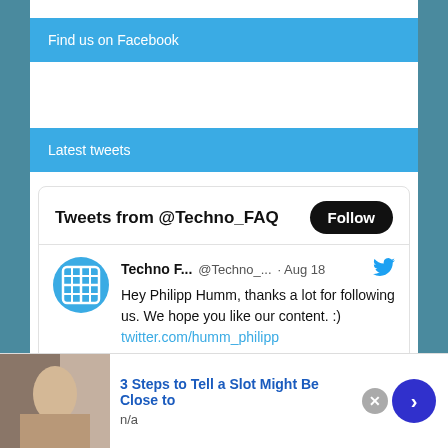Find us on Facebook
Latest tweets
[Figure (screenshot): Twitter widget showing 'Tweets from @Techno_FAQ' with a Follow button, and a tweet from Techno F... @Techno_... Aug 18: 'Hey Philipp Humm, thanks a lot for following us. We hope you like our content. :) twitter.com/humm_philipp' with a link preview showing 'twitter.com']
3 Steps to Tell a Slot Might Be Close to
n/a